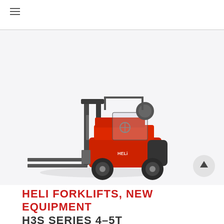≡
[Figure (photo): Red and grey Heli forklift truck shown from the side, facing left, on a white/light grey background. The forklift has an orange-red body, grey mast, black wheels, and a driver seat with a round headrest.]
HELI FORKLIFTS, NEW EQUIPMENT
H3S SERIES 4-5T